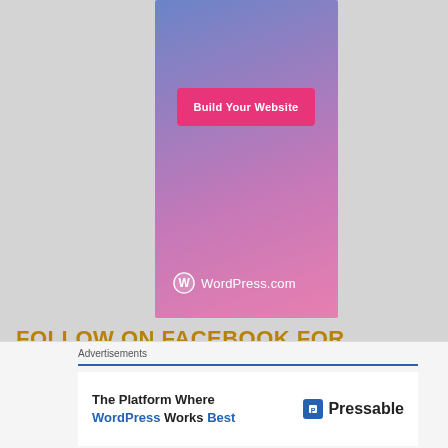[Figure (illustration): WordPress.com advertisement banner with gradient blue-to-pink background, a pink 'Build Your Website' button, and the WordPress.com logo at the bottom.]
FOLLOW ON FACEBOOK FOR UPDATES!
[Figure (illustration): Close/dismiss button (circled X) in the bottom-right area of the main content.]
Advertisements
[Figure (illustration): Pressable advertisement: 'The Platform Where WordPress Works Best' with the Pressable logo on the right.]